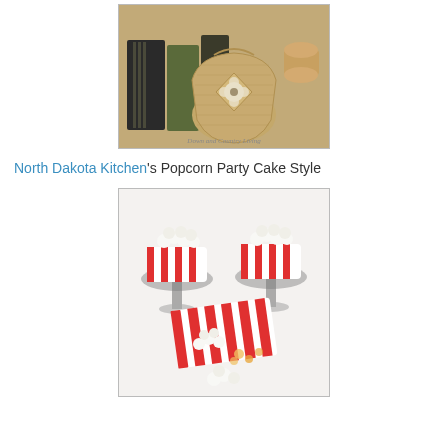[Figure (photo): A rustic burlap gift bag with a flower decoration, surrounded by old books and a spool of twine. Watermark reads 'Down and Country Living'.]
North Dakota Kitchen's Popcorn Party Cake Style
[Figure (photo): Popcorn-style cakes displayed in red and white striped popcorn boxes on glass cake stands, with additional popcorn scattered around, on a white surface.]